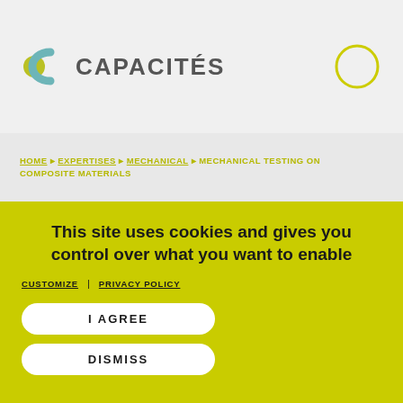[Figure (logo): Capacités logo with circular swoosh icon in teal/olive and gray, and the text CAPACITÉS in bold gray uppercase letters]
HOME > EXPERTISES > MECHANICAL > MECHANICAL TESTING ON COMPOSITE MATERIALS
This site uses cookies and gives you control over what you want to enable
CUSTOMIZE | PRIVACY POLICY
I AGREE
DISMISS